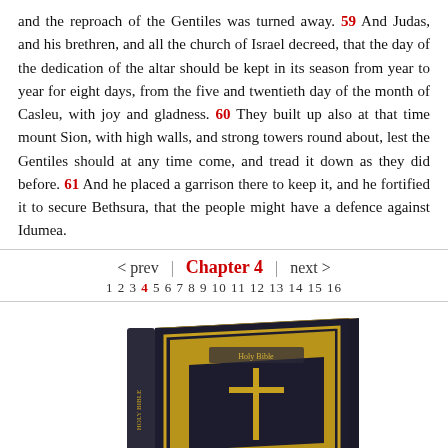and the reproach of the Gentiles was turned away. 59 And Judas, and his brethren, and all the church of Israel decreed, that the day of the dedication of the altar should be kept in its season from year to year for eight days, from the five and twentieth day of the month of Casleu, with joy and gladness. 60 They built up also at that time mount Sion, with high walls, and strong towers round about, lest the Gentiles should at any time come, and tread it down as they did before. 61 And he placed a garrison there to keep it, and he fortified it to secure Bethsura, that the people might have a defence against Idumea.
< prev | Chapter 4 | next > 1 2 3 4 5 6 7 8 9 10 11 12 13 14 15 16
[Figure (illustration): A Holy Bible book with ornate gold decorative cover featuring a cross, shown at an angle]